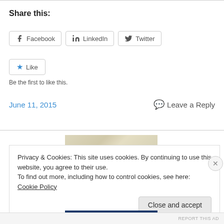Share this:
Facebook  LinkedIn  Twitter
Like
Be the first to like this.
June 11, 2015    Leave a Reply
Privacy & Cookies: This site uses cookies. By continuing to use this website, you agree to their use.
To find out more, including how to control cookies, see here: Cookie Policy
Close and accept